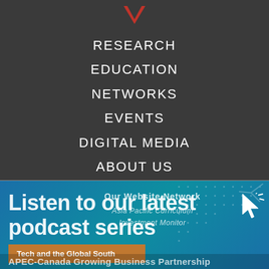[Figure (logo): Red downward-pointing arrow/chevron logo at top center]
RESEARCH
EDUCATION
NETWORKS
EVENTS
DIGITAL MEDIA
ABOUT US
[Figure (screenshot): Blue promotional banner showing 'Listen to our latest podcast series' overlaid with a website network dropdown showing 'Our Website Network', 'Asia Pacific Curriculum', 'Investment Monitor', with a cursor icon, an orange button reading 'Tech and the Global South', and bottom text 'APEC-Canada Growing Business Partnership']
Listen to our latest podcast series
Our Website Network
Asia Pacific Curriculum
Investment Monitor
Tech and the Global South
APEC-Canada Growing Business Partnership